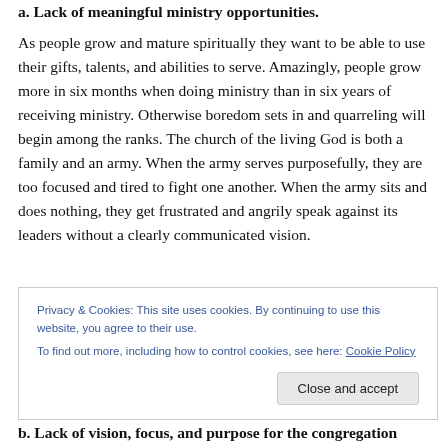a. Lack of meaningful ministry opportunities.
As people grow and mature spiritually they want to be able to use their gifts, talents, and abilities to serve. Amazingly, people grow more in six months when doing ministry than in six years of receiving ministry. Otherwise boredom sets in and quarreling will begin among the ranks. The church of the living God is both a family and an army. When the army serves purposefully, they are too focused and tired to fight one another. When the army sits and does nothing, they get frustrated and angrily speak against its leaders without a clearly communicated vision.
Privacy & Cookies: This site uses cookies. By continuing to use this website, you agree to their use.
To find out more, including how to control cookies, see here: Cookie Policy
b. Lack of vision, focus, and purpose for the congregation